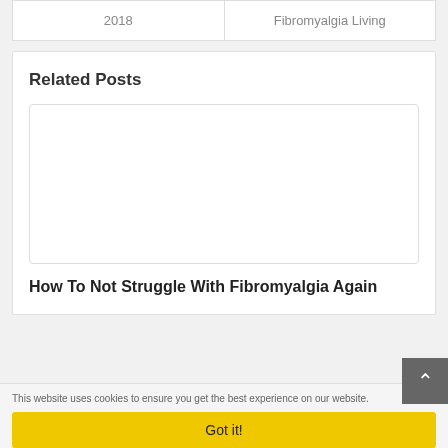| 2018 | Fibromyalgia Living |
Related Posts
[Figure (other): Blank white card image placeholder for related post]
How To Not Struggle With Fibromyalgia Again
This website uses cookies to ensure you get the best experience on our website.
Got it!